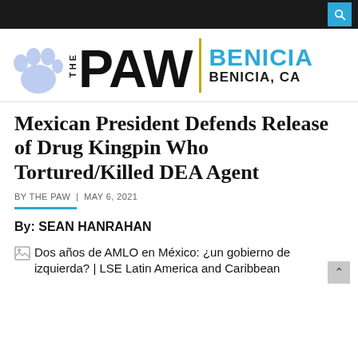The PAW | BENICIA | BENICIA, CA
Mexican President Defends Release of Drug Kingpin Who Tortured/Killed DEA Agent
BY THE PAW  |  MAY 6, 2021
By: SEAN HANRAHAN
Dos años de AMLO en México: ¿un gobierno de izquierda? | LSE Latin America and Caribbean